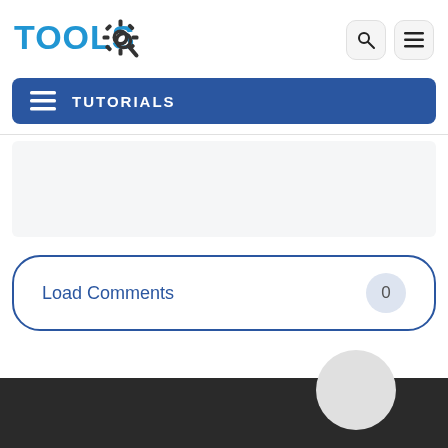[Figure (logo): TOOLS logo with gear and magnifying glass icon in blue and dark gray]
[Figure (screenshot): Search icon button (magnifying glass) in a rounded square]
[Figure (screenshot): Menu/hamburger icon button in a rounded square]
TUTORIALS
Load Comments
0